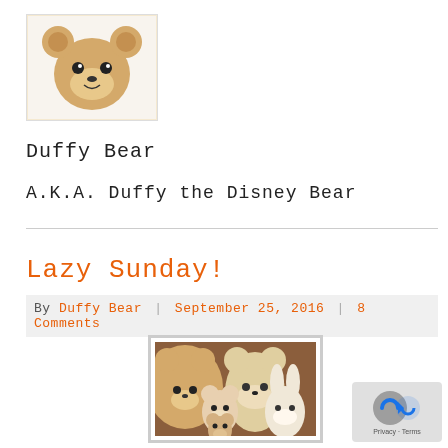[Figure (photo): Duffy Bear logo/avatar — a small stuffed bear face with tan/cream fur, dark eyes, and a stitched smile, shown in a white bordered box]
Duffy Bear
A.K.A. Duffy the Disney Bear
Lazy Sunday!
By Duffy Bear | September 25, 2016 | 8 Comments
[Figure (photo): Photo of several stuffed Duffy Bear plush toys grouped together, showing their faces — tan bears and lighter colored characters]